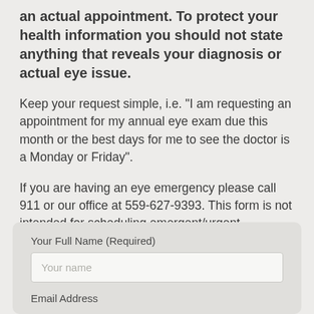an actual appointment. To protect your health information you should not state anything that reveals your diagnosis or actual eye issue.
Keep your request simple, i.e. "I am requesting an appointment for my annual eye exam due this month or the best days for me to see the doctor is a Monday or Friday".
If you are having an eye emergency please call 911 or our office at 559-627-9393. This form is not intended for scheduling emergent/urgent appointments.
Your Full Name (Required)
Your name
Email Address